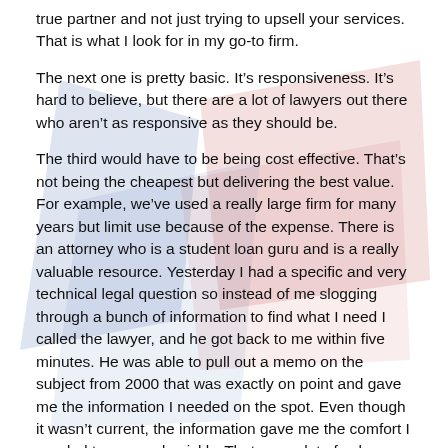true partner and not just trying to upsell your services. That is what I look for in my go-to firm.
The next one is pretty basic. It's responsiveness. It's hard to believe, but there are a lot of lawyers out there who aren't as responsive as they should be.
The third would have to be being cost effective. That's not being the cheapest but delivering the best value. For example, we've used a really large firm for many years but limit use because of the expense. There is an attorney who is a student loan guru and is a really valuable resource. Yesterday I had a specific and very technical legal question so instead of me slogging through a bunch of information to find what I need I called the lawyer, and he got back to me within five minutes. He was able to pull out a memo on the subject from 2000 that was exactly on point and gave me the information I needed on the spot. Even though it wasn't current, the information gave me the comfort I needed to proceed quickly. That was a lot of value.